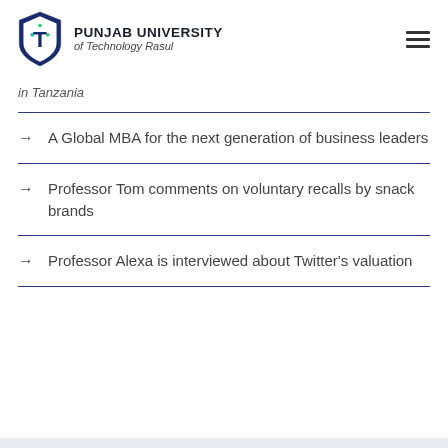PUNJAB UNIVERSITY of Technology Rasul
in Tanzania
A Global MBA for the next generation of business leaders
Professor Tom comments on voluntary recalls by snack brands
Professor Alexa is interviewed about Twitter's valuation